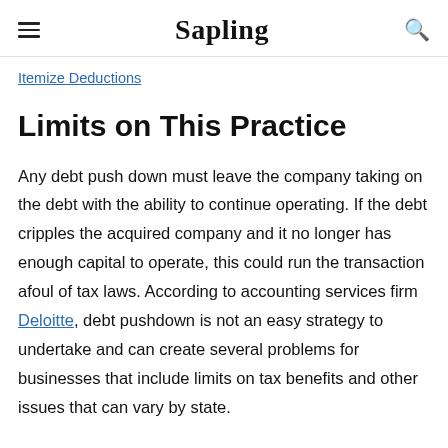Sapling
Itemize Deductions
Limits on This Practice
Any debt push down must leave the company taking on the debt with the ability to continue operating. If the debt cripples the acquired company and it no longer has enough capital to operate, this could run the transaction afoul of tax laws. According to accounting services firm Deloitte, debt pushdown is not an easy strategy to undertake and can create several problems for businesses that include limits on tax benefits and other issues that can vary by state.